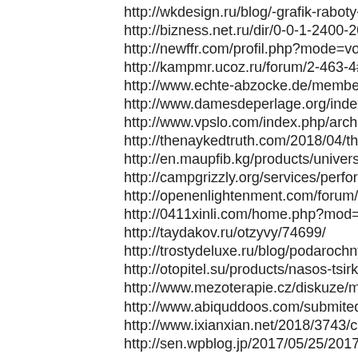http://wkdesign.ru/blog/-grafik-raboty-v-prazdich
http://bizness.net.ru/dir/0-0-1-2400-20/
http://newffr.com/profil.php?mode=voir&user_id
http://kampmr.ucoz.ru/forum/2-463-4#1249
http://www.echte-abzocke.de/members/burgervef
http://www.damesdeperlage.org/index.php/compo
http://www.vpslo.com/index.php/archives/1/#com
http://thenaykedtruth.com/2018/04/the-hidden-sci
http://en.maupfib.kg/products/universalnaya-soko
http://campgrizzly.org/services/performing-creati
http://openenlightenment.com/forum/general-disc
http://0411xinli.com/home.php?mod=space&uid=
http://taydakov.ru/otzyvy/74699/
http://trostydeluxe.ru/blog/podarochnye-trosti-ele
http://otopitel.su/products/nasos-tsirkulyatsionnyj
http://www.mezoterapie.cz/diskuze/meggflexy/
http://www.abiquddoos.com/submitedgecom-revi
http://www.ixianxian.net/2018/3743/comment-pa
http://sen.wpblog.jp/2017/05/25/2017-05-25-18